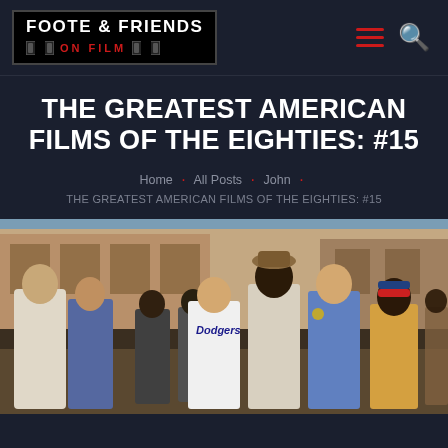FOOTE & FRIENDS ON FILM — navigation header with hamburger menu and search icon
THE GREATEST AMERICAN FILMS OF THE EIGHTIES: #15
Home · All Posts · John · THE GREATEST AMERICAN FILMS OF THE EIGHTIES: #15
[Figure (photo): Street scene photo showing a group of people including men in police uniforms, a man in a Dodgers jersey, an older man in a white suit and hat, and others gathered on a city block with brownstone buildings in the background.]